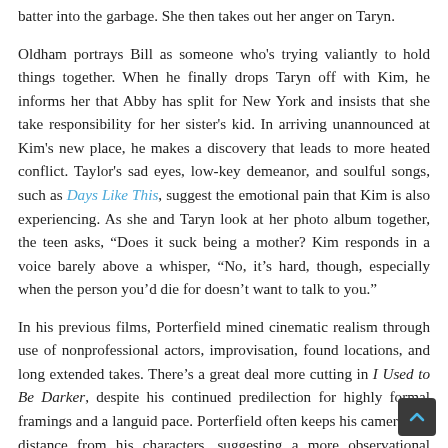batter into the garbage. She then takes out her anger on Taryn.
Oldham portrays Bill as someone who's trying valiantly to hold things together. When he finally drops Taryn off with Kim, he informs her that Abby has split for New York and insists that she take responsibility for her sister's kid. In arriving unannounced at Kim's new place, he makes a discovery that leads to more heated conflict. Taylor's sad eyes, low-key demeanor, and soulful songs, such as Days Like This, suggest the emotional pain that Kim is also experiencing. As she and Taryn look at her photo album together, the teen asks, “Does it suck being a mother? Kim responds in a voice barely above a whisper, “No, it's hard, though, especially when the person you'd die for doesn’t want to talk to you.”
In his previous films, Porterfield mined cinematic realism through use of nonprofessional actors, improvisation, found locations, and long extended takes. There's a great deal more cutting in I Used to Be Darker, despite his continued predilection for highly formal framings and a languid pace. Porterfield often keeps his camera at a distance from his characters, suggesting a more observational approach. There's a scene early on where, in a wide shot, Bill takes a dip in the backyard pool. He slowly swims off-screen. The camera holds